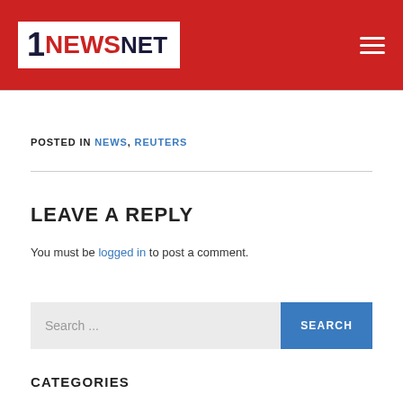1 NEWS NET
POSTED IN NEWS, REUTERS
LEAVE A REPLY
You must be logged in to post a comment.
Search ...
CATEGORIES